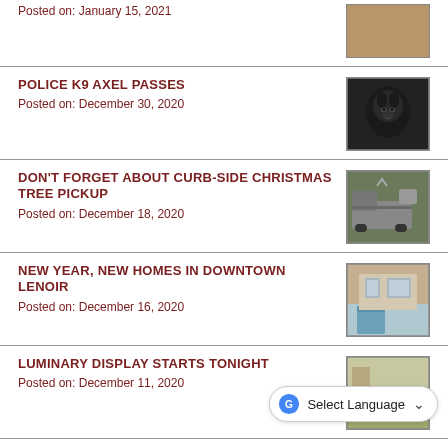Posted on: January 15, 2021
[Figure (photo): Person working, partial view at top of page]
POLICE K9 AXEL PASSES
Posted on: December 30, 2020
[Figure (photo): Black German Shepherd dog looking at camera]
DON'T FORGET ABOUT CURB-SIDE CHRISTMAS TREE PICKUP
Posted on: December 18, 2020
[Figure (photo): Utility or garbage truck on road]
NEW YEAR, NEW HOMES IN DOWNTOWN LENOIR
Posted on: December 16, 2020
[Figure (photo): Interior of home under construction with blue island]
LUMINARY DISPLAY STARTS TONIGHT
Posted on: December 11, 2020
[Figure (photo): Person with white luminaries/bags in field]
HOLIDAY SAFETY TIPS FROM THE CITY
Posted on: December 10, 2020
[Figure (photo): Holiday safety image, partially visible]